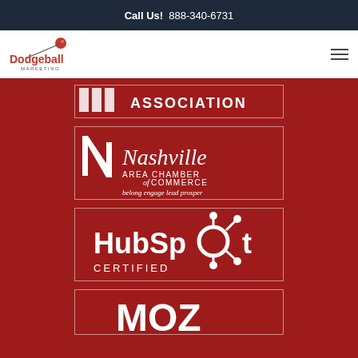Call Us! 888-340-6731
[Figure (logo): Dodgeball Marketing logo with red ball and text]
[Figure (logo): Association logo badge with white text on dark red background]
[Figure (logo): Nashville Area Chamber of Commerce logo - belong engage lead prosper]
[Figure (logo): HubSpot Certified logo in white on dark red background]
[Figure (logo): MOZ logo (partially visible) in white on dark red background]